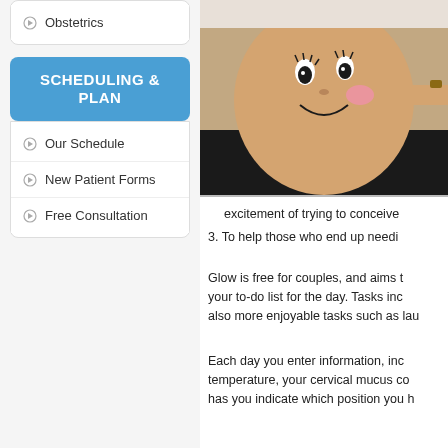Obstetrics
SCHEDULING & PLAN
Our Schedule
New Patient Forms
Free Consultation
[Figure (photo): Pregnant woman's belly with cartoon face painted on it]
excitement of trying to conceive
3. To help those who end up needi
Glow is free for couples, and aims to your to-do list for the day. Tasks inc also more enjoyable tasks such as lau
Each day you enter information, inc temperature, your cervical mucus co has you indicate which position you h